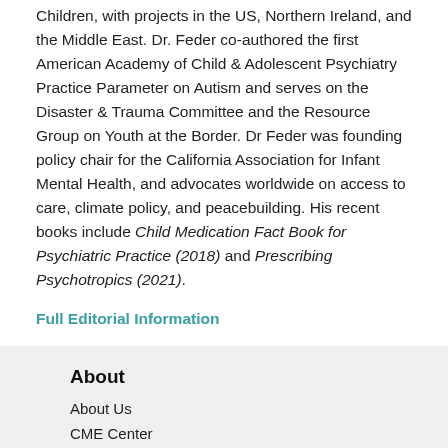Children, with projects in the US, Northern Ireland, and the Middle East. Dr. Feder co-authored the first American Academy of Child & Adolescent Psychiatry Practice Parameter on Autism and serves on the Disaster & Trauma Committee and the Resource Group on Youth at the Border. Dr Feder was founding policy chair for the California Association for Infant Mental Health, and advocates worldwide on access to care, climate policy, and peacebuilding. His recent books include Child Medication Fact Book for Psychiatric Practice (2018) and Prescribing Psychotropics (2021).
Full Editorial Information
About
About Us
CME Center
FAQ
Contact Us